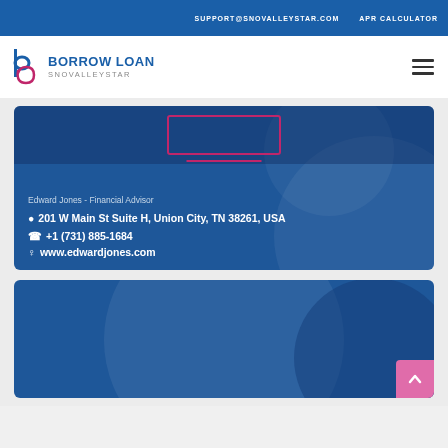SUPPORT@SNOVALLEYSTAR.COM  APR CALCULATOR
BORROW LOAN SNOVALLEYSTAR
[Figure (infographic): Financial advisor listing card with blue background showing Edward Jones - Financial Advisor contact info: 201 W Main St Suite H, Union City, TN 38261, USA; +1 (731) 885-1684; www.edwardjones.com]
Edward Jones - Financial Advisor
201 W Main St Suite H, Union City, TN 38261, USA
+1 (731) 885-1684
www.edwardjones.com
[Figure (infographic): Second financial advisor listing card with blue background, partially visible]